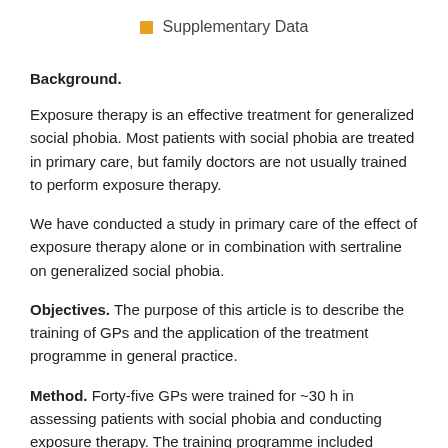Supplementary Data
Background.
Exposure therapy is an effective treatment for generalized social phobia. Most patients with social phobia are treated in primary care, but family doctors are not usually trained to perform exposure therapy.
We have conducted a study in primary care of the effect of exposure therapy alone or in combination with sertraline on generalized social phobia.
Objectives. The purpose of this article is to describe the training of GPs and the application of the treatment programme in general practice.
Method. Forty-five GPs were trained for ~30 h in assessing patients with social phobia and conducting exposure therapy. The training programme included scoring of videotaped